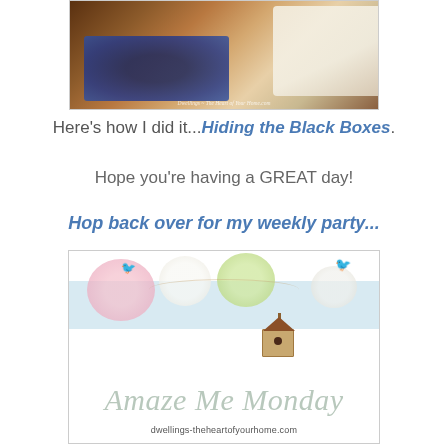[Figure (photo): Interior room photo showing a decorative rug and a white upholstered chair on a hardwood floor, with watermark 'Dwellings ~ The Heart of Your Home.com']
Here's how I did it...Hiding the Black Boxes.
Hope you're having a GREAT day!
Hop back over for my weekly party...
[Figure (logo): Amaze Me Monday badge with birds, flowers, and birdhouse illustration. Text reads 'Amaze Me Monday' and 'dwellings-theheartofyourhome.com']